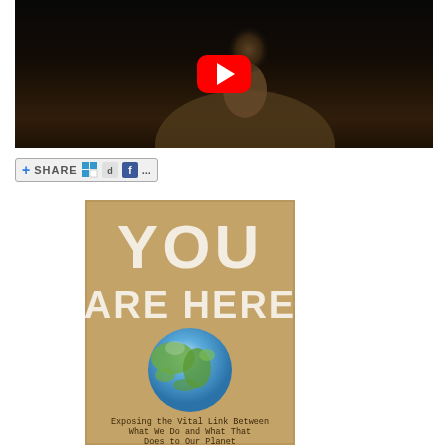[Figure (screenshot): YouTube video thumbnail showing a man (Kevin Bacon) with a red YouTube play button overlay, dark background]
[Figure (screenshot): Social share button bar with plus icon, SHARE text, and social media icons (Delicious, Digg, Facebook, more)]
[Figure (illustration): Book cover for 'YOU ARE HERE' on kraft brown background with large white distressed text, globe illustration, and subtitle 'Exposing the Vital Link Between What We Do and What That Does to Our Planet']